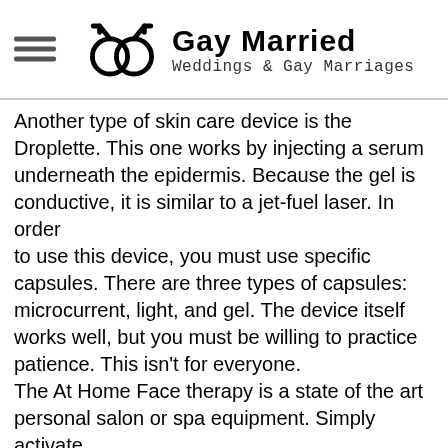Gay Married — Weddings & Gay Marriages
Another type of skin care device is the Droplette. This one works by injecting a serum underneath the epidermis. Because the gel is conductive, it is similar to a jet-fuel laser. In order to use this device, you must use specific capsules. There are three types of capsules: microcurrent, light, and gel. The device itself works well, but you must be willing to practice patience. This isn't for everyone. The At Home Face therapy is a state of the art personal salon or spa equipment. Simply activate it by pushing the "+" switch and placing the device head against your face. The device's dual ion sensors will start to work on your skin, and you can choose which one is right for you. The positive ion sensors will remove dirt from pores and decompose